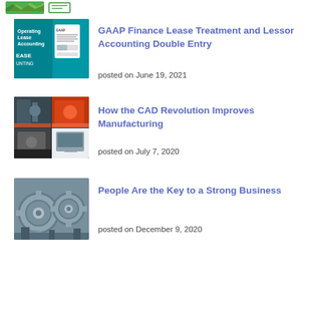[Figure (logo): Green logo/icon bar at top of page]
[Figure (illustration): Thumbnail image for GAAP Finance Lease article showing document/finance graphic on teal background]
GAAP Finance Lease Treatment and Lessor Accounting Double Entry
posted on June 19, 2021
[Figure (photo): Thumbnail image for CAD Revolution article showing manufacturing/machining equipment]
How the CAD Revolution Improves Manufacturing
posted on July 7, 2020
[Figure (photo): Thumbnail image for People article showing interlocking gears on blue background]
People Are the Key to a Strong Business
posted on December 9, 2020